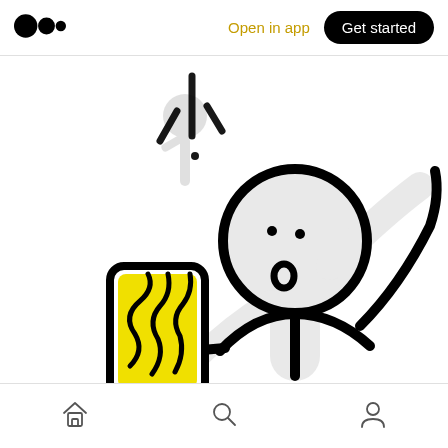Medium logo | Open in app | Get started
[Figure (illustration): Hand-drawn stick figure holding a phone with yellow flames/fire on it, with another smaller stick figure in the background. The main figure has an open mouth expression. Gray shadow/ghost shapes behind.]
Home | Search | Profile icons